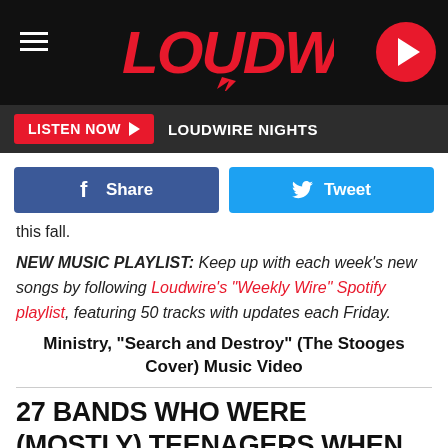LOUDWIRE
LISTEN NOW  LOUDWIRE NIGHTS
[Figure (other): Facebook Share button and Twitter Tweet button side by side]
this fall.
NEW MUSIC PLAYLIST: Keep up with each week's new songs by following Loudwire's "Weekly Wire" Spotify playlist, featuring 50 tracks with updates each Friday.
Ministry, "Search and Destroy" (The Stooges Cover) Music Video
27 BANDS WHO WERE (MOSTLY) TEENAGERS WHEN THEIR DEBUT ALBUM CAME OUT